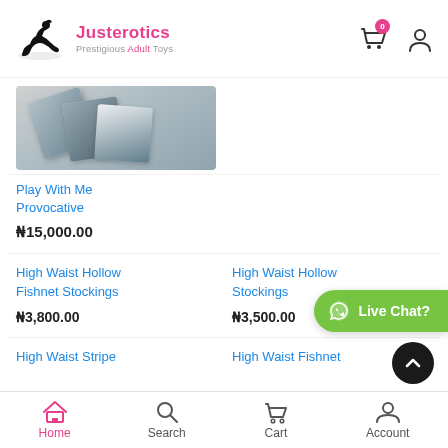Justerotics — Prestigious Adult Toys
[Figure (photo): Product image of Play With Me Provocative item (condom-like packets)]
Play With Me Provocative
₦15,000.00
High Waist Hollow Fishnet Stockings
₦3,800.00
High Waist Hollow Stockings
₦3,500.00
High Waist Stripe
High Waist Fishnet
Home   Search   Cart   Account